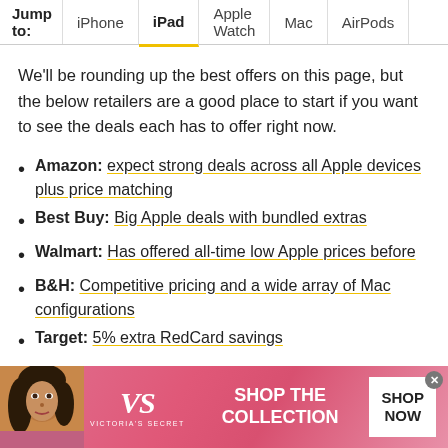Jump to: iPhone | iPad | Apple Watch | Mac | AirPods
We'll be rounding up the best offers on this page, but the below retailers are a good place to start if you want to see the deals each has to offer right now.
Amazon: expect strong deals across all Apple devices plus price matching
Best Buy: Big Apple deals with bundled extras
Walmart: Has offered all-time low Apple prices before
B&H: Competitive pricing and a wide array of Mac configurations
Target: 5% extra RedCard savings
[Figure (photo): Victoria's Secret advertisement banner with a model, VS logo, text SHOP THE COLLECTION, and SHOP NOW button]